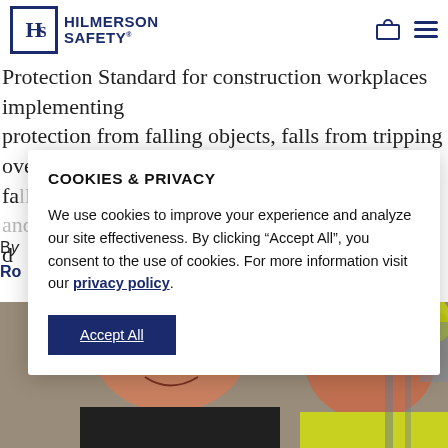HILMERSON SAFETY
Protection Standard for construction workplaces implementing protection from falling objects, falls from tripping over holes, fa...
COOKIES & PRIVACY

We use cookies to improve your experience and analyze our site effectiveness. By clicking “Accept All”, you consent to the use of cookies. For more information visit our privacy policy.
[Figure (photo): Two construction workers wearing hard hats and safety gear, smiling at camera on a job site]
Accept All